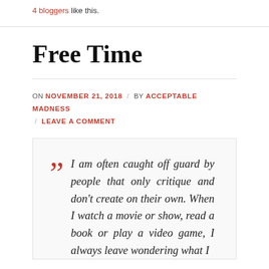4 bloggers like this.
Free Time
ON NOVEMBER 21, 2018 / BY ACCEPTABLE MADNESS / LEAVE A COMMENT
I am often caught off guard by people that only critique and don't create on their own. When I watch a movie or show, read a book or play a video game, I always leave wondering what I